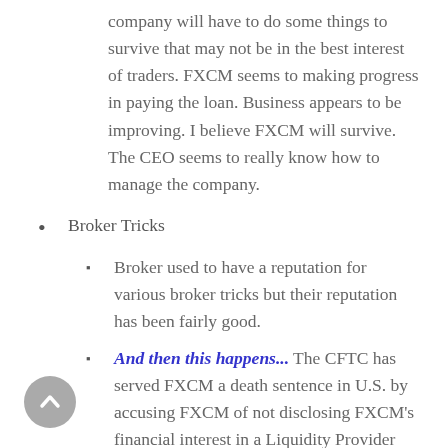company will have to do some things to survive that may not be in the best interest of traders. FXCM seems to making progress in paying the loan. Business appears to be improving. I believe FXCM will survive. The CEO seems to really know how to manage the company.
Broker Tricks
Broker used to have a reputation for various broker tricks but their reputation has been fairly good.
And then this happens... The CFTC has served FXCM a death sentence in U.S. by accusing FXCM of not disclosing FXCM's financial interest in a Liquidity Provider